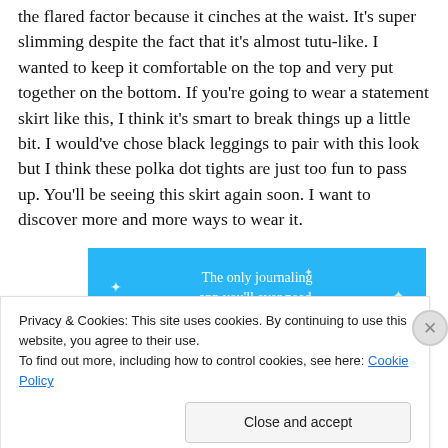the flared factor because it cinches at the waist. It's super slimming despite the fact that it's almost tutu-like. I wanted to keep it comfortable on the top and very put together on the bottom. If you're going to wear a statement skirt like this, I think it's smart to break things up a little bit. I would've chose black leggings to pair with this look but I think these polka dot tights are just too fun to pass up. You'll be seeing this skirt again soon. I want to discover more and more ways to wear it.
[Figure (other): Blue advertisement banner reading 'The only journaling app you'll ever need.' with small star/sparkle decorations]
Privacy & Cookies: This site uses cookies. By continuing to use this website, you agree to their use.
To find out more, including how to control cookies, see here: Cookie Policy